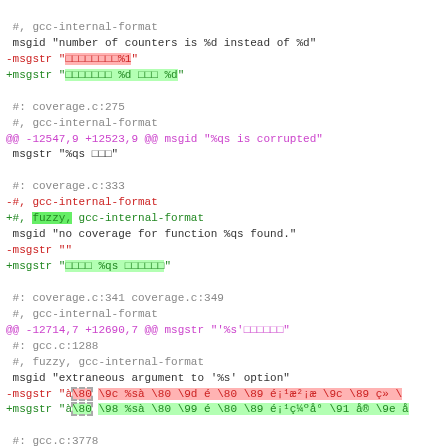diff code block showing git diff of PO translation file with removed/added msgstr lines, fuzzy markers, and various coverage.c and gcc.c references